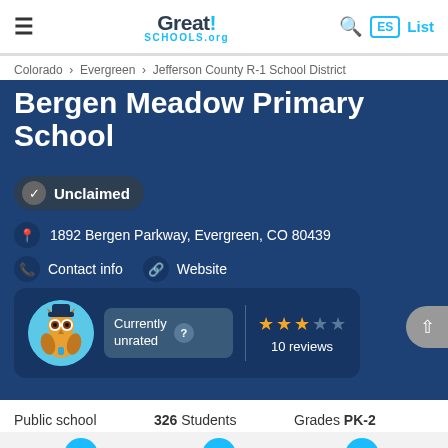[Figure (logo): GreatSchools.org logo with hamburger menu, search icon, ES box, and List link]
Colorado › Evergreen › Jefferson County R-1 School District
Bergen Meadow Primary School
Unclaimed
1892 Bergen Parkway, Evergreen, CO 80439
Contact info
Website
[Figure (infographic): Rating card with owl mascot, Currently unrated badge with question mark, and 3-star rating with 10 reviews]
Public school   326 Students   Grades PK-2
Review   Updates   Compare